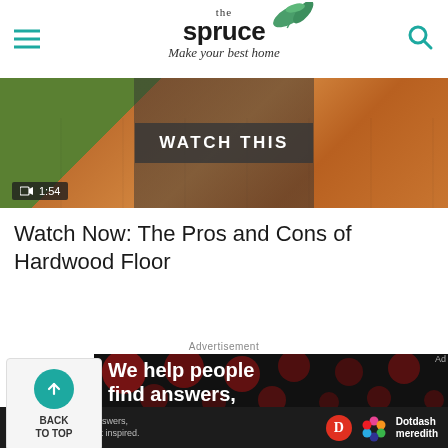the spruce — Make your best home
[Figure (screenshot): Video thumbnail showing hardwood floor with plant, overlay text 'WATCH THIS' in hexagon shape, video duration timer showing 1:54]
Watch Now: The Pros and Cons of Hardwood Floor
Advertisement
[Figure (screenshot): Advertisement banner showing text 'We help people find answers, solve problems' on dark background with red polka dot pattern]
[Figure (logo): Dotdash Meredith logo with red D circle and colorful dots icon]
We help people find answers, solve problems and get inspired.